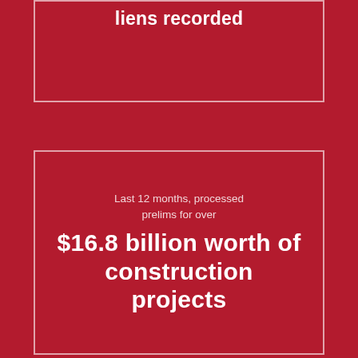liens recorded
Last 12 months, processed prelims for over $16.8 billion worth of construction projects